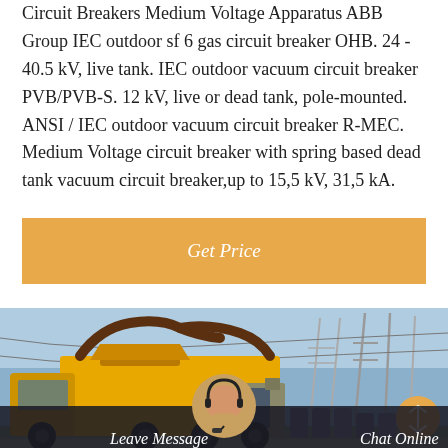Circuit Breakers Medium Voltage Apparatus ABB Group IEC outdoor sf 6 gas circuit breaker OHB. 24 - 40.5 kV, live tank. IEC outdoor vacuum circuit breaker PVB/PVB-S. 12 kV, live or dead tank, pole-mounted. ANSI / IEC outdoor vacuum circuit breaker R-MEC. Medium Voltage circuit breaker with spring based dead tank vacuum circuit breaker,up to 15,5 kV, 31,5 kA.
[Figure (other): Button labeled Get Price with orange/amber background]
[Figure (photo): Yellow utility truck parked at an outdoor electrical substation with power lines and transformers in the background. Bottom bar shows Leave Message and Chat Online with a customer service avatar.]